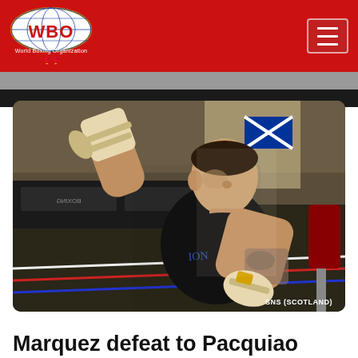WBO World Boxing Organization
[Figure (photo): Boxer in black t-shirt training in a boxing gym with hand wraps, in fighting stance, boxing ring ropes visible. Photo credit: SNS (SCOTLAND)]
Marquez defeat to Pacquiao